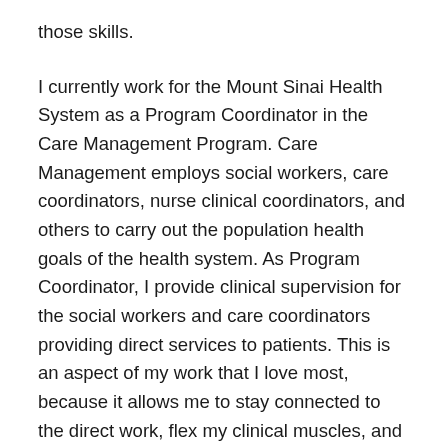those skills.
I currently work for the Mount Sinai Health System as a Program Coordinator in the Care Management Program. Care Management employs social workers, care coordinators, nurse clinical coordinators, and others to carry out the population health goals of the health system. As Program Coordinator, I provide clinical supervision for the social workers and care coordinators providing direct services to patients. This is an aspect of my work that I love most, because it allows me to stay connected to the direct work, flex my clinical muscles, and support my supervisees' professional development and growth, which is always inspiring.
I also plan and develop workflows and initiatives to better engage patients in meaningful care. For example, Mount Sinai has recently partnered with a new insurance